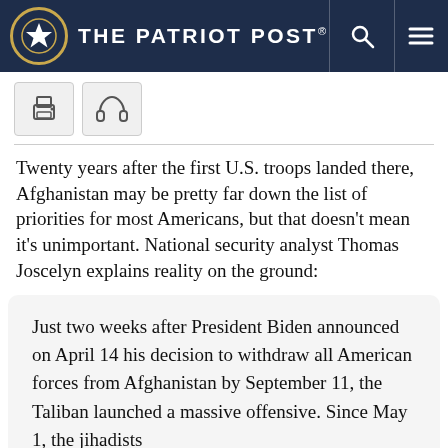The Patriot Post.
Twenty years after the first U.S. troops landed there, Afghanistan may be pretty far down the list of priorities for most Americans, but that doesn't mean it's unimportant. National security analyst Thomas Joscelyn explains reality on the ground:
Just two weeks after President Biden announced on April 14 his decision to withdraw all American forces from Afghanistan by September 11, the Taliban launched a massive offensive. Since May 1, the jihadists